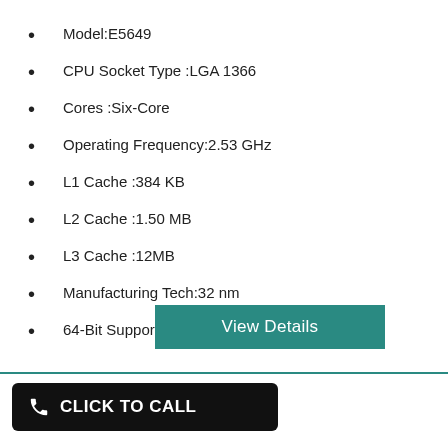Model:E5649
CPU Socket Type :LGA 1366
Cores :Six-Core
Operating Frequency:2.53 GHz
L1 Cache :384 KB
L2 Cache :1.50 MB
L3 Cache :12MB
Manufacturing Tech:32 nm
64-Bit Support :Yes
[Figure (other): Teal/green View Details button]
[Figure (other): WhatsApp phone icon circle (green) with teal horizontal divider line]
[Figure (other): Black rounded rectangle button with phone icon and text CLICK TO CALL]